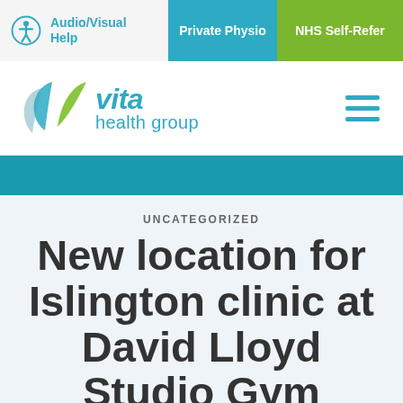Audio/Visual Help | Private Physio | NHS Self-Refer
[Figure (logo): Vita Health Group logo with leaf graphic and teal text]
UNCATEGORIZED
New location for Islington clinic at David Lloyd Studio Gym